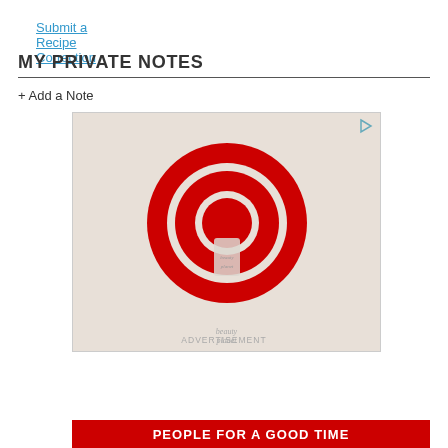Submit a Recipe Correction
MY PRIVATE NOTES
+ Add a Note
[Figure (photo): Target advertisement showing the Target bullseye logo (red concentric circles) on a beige/cream background with a product container visible below the logo. Small text reads 'beauty planet' on the container.]
ADVERTISEMENT
PEOPLE FOR A GOOD TIME